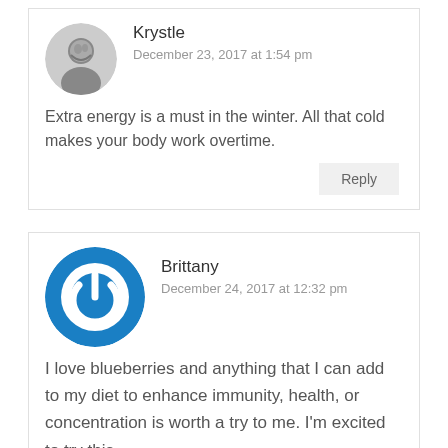[Figure (photo): Circular avatar photo of Krystle, a woman with dark hair, in black and white]
Krystle
December 23, 2017 at 1:54 pm
Extra energy is a must in the winter. All that cold makes your body work overtime.
Reply
[Figure (logo): Circular blue power button icon avatar for Brittany]
Brittany
December 24, 2017 at 12:32 pm
I love blueberries and anything that I can add to my diet to enhance immunity, health, or concentration is worth a try to me. I'm excited to try this